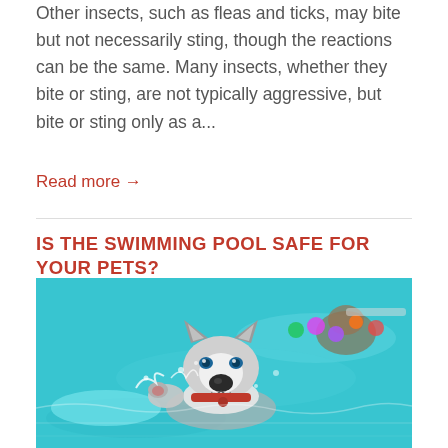Other insects, such as fleas and ticks, may bite but not necessarily sting, though the reactions can be the same. Many insects, whether they bite or sting, are not typically aggressive, but bite or sting only as a...
Read more →
IS THE SWIMMING POOL SAFE FOR YOUR PETS?
[Figure (photo): A husky dog swimming in a bright turquoise pool, wearing a red collar, with its paw raised out of the water and water splashing around it. In the background, more dogs and colorful balls are visible in the pool.]